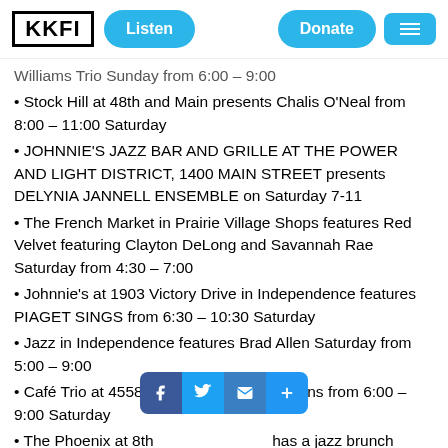KKFI | Listen | Donate | Menu
Williams Trio Sunday from 6:00 – 9:00
Stock Hill at 48th and Main presents Chalis O'Neal from 8:00 – 11:00 Saturday
JOHNNIE'S JAZZ BAR AND GRILLE AT THE POWER AND LIGHT DISTRICT, 1400 MAIN STREET presents DELYNIA JANNELL ENSEMBLE on Saturday 7-11
The French Market in Prairie Village Shops features Red Velvet featuring Clayton DeLong and Savannah Rae Saturday from 4:30 – 7:00
Johnnie's at 1903 Victory Drive in Independence features PIAGET SINGS from 6:30 – 10:30 Saturday
Jazz in Independence features Brad Allen Saturday from 5:00 – 9:00
Café Trio at 4558 Main has Candace Evans from 6:00 – 9:00 Saturday
The Phoenix at 8th and Central has a jazz brunch